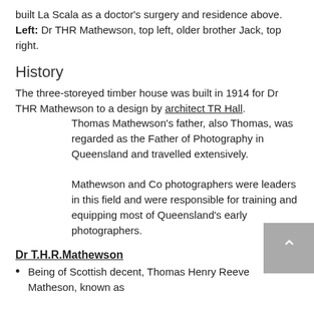built La Scala as a doctor's surgery and residence above. Left: Dr THR Mathewson, top left, older brother Jack, top right.
History
The three-storeyed timber house was built in 1914 for Dr THR Mathewson to a design by architect TR Hall.
        Thomas Mathewson's father, also Thomas, was regarded as the Father of Photography in Queensland and travelled extensively.
        Mathewson and Co photographers were leaders in this field and were responsible for training and equipping most of Queensland's early photographers.
Dr T.H.R.Mathewson
Being of Scottish decent, Thomas Henry Reeve Matheson, known as